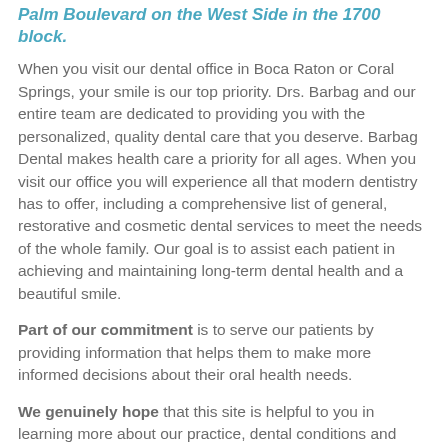Palm Boulevard on the West Side in the 1700 block.
When you visit our dental office in Boca Raton or Coral Springs, your smile is our top priority. Drs. Barbag and our entire team are dedicated to providing you with the personalized, quality dental care that you deserve. Barbag Dental makes health care a priority for all ages. When you visit our office you will experience all that modern dentistry has to offer, including a comprehensive list of general, restorative and cosmetic dental services to meet the needs of the whole family. Our goal is to assist each patient in achieving and maintaining long-term dental health and a beautiful smile.
Part of our commitment is to serve our patients by providing information that helps them to make more informed decisions about their oral health needs.
We genuinely hope that this site is helpful to you in learning more about our practice, dental conditions and treatments, dental recommendations, and more. Please browse through our website and be